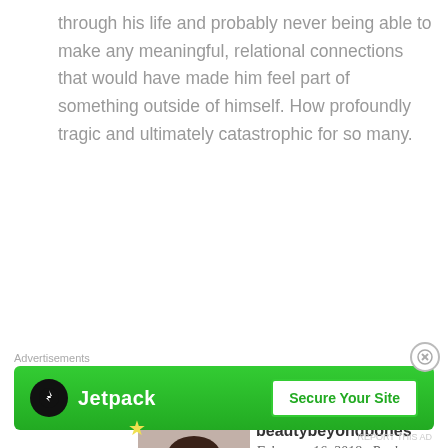through his life and probably never being able to make any meaningful, relational connections that would have made him feel part of something outside of himself. How profoundly tragic and ultimately catastrophic for so many.
Loading...
[Figure (photo): Profile photo of user beautybeyondbones — a woman with long dark hair smiling]
beautybeyondbones
February 16, 2018   Reply
thank you so much Cindy, for this reflection. It really is profoundly tragic. thanks for stopping by.
Advertisements
[Figure (other): Jetpack advertisement banner with green background, Jetpack logo on left and 'Secure Your Site' button on right]